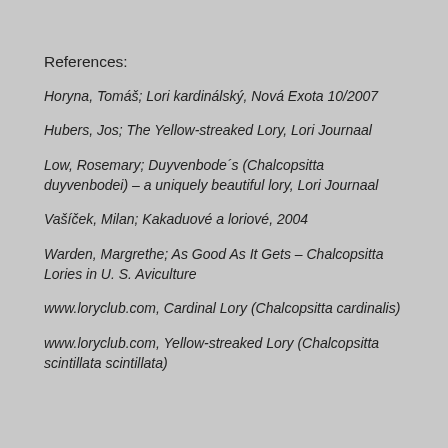References:
Horyna, Tomáš; Lori kardinálský, Nová Exota 10/2007
Hubers, Jos; The Yellow-streaked Lory, Lori Journaal
Low, Rosemary; Duyvenbode´s (Chalcopsitta duyvenbodei) – a uniquely beautiful lory, Lori Journaal
Vašíček, Milan; Kakaduové a loriové, 2004
Warden, Margrethe; As Good As It Gets – Chalcopsitta Lories in U. S. Aviculture
www.loryclub.com, Cardinal Lory (Chalcopsitta cardinalis)
www.loryclub.com, Yellow-streaked Lory (Chalcopsitta scintillata scintillata)